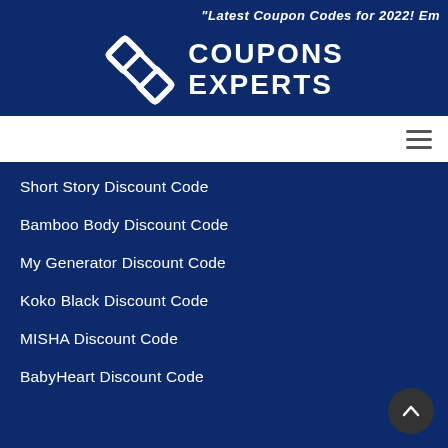“Latest Coupon Codes for 2022! Em
[Figure (logo): Coupons Experts logo with interlocking diamond/chain link icon and text COUPONS EXPERTS]
[Figure (other): White navigation bar with hamburger menu icon on the right]
Short Story Discount Code
Bamboo Body Discount Code
My Generator Discount Code
Koko Black Discount Code
MISHA Discount Code
BabyHeart Discount Code